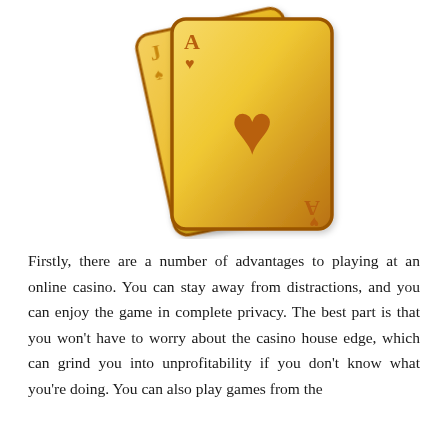[Figure (illustration): Two golden playing cards: a Jack of Spades (tilted left, partially behind) and an Ace of Hearts (front, upright), illustrated in gold/yellow tones with brown outlines and a large heart symbol in the center.]
Firstly, there are a number of advantages to playing at an online casino. You can stay away from distractions, and you can enjoy the game in complete privacy. The best part is that you won't have to worry about the casino house edge, which can grind you into unprofitability if you don't know what you're doing. You can also play games from the comfort of your home, and the internet can also be